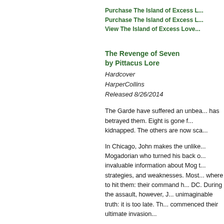Purchase The Island of Excess L...
Purchase The Island of Excess L...
View The Island of Excess Love...
The Revenge of Seven
by Pittacus Lore
Hardcover
HarperCollins
Released 8/26/2014
The Garde have suffered an unbea... has betrayed them. Eight is gone f... kidnapped. The others are now sca...
In Chicago, John makes the unlike... Mogadorian who turned his back o... invaluable information about Mog t... strategies, and weaknesses. Most... where to hit them: their command h... DC. During the assault, however, J... unimaginable truth: it is too late. Th... commenced their ultimate invasion...